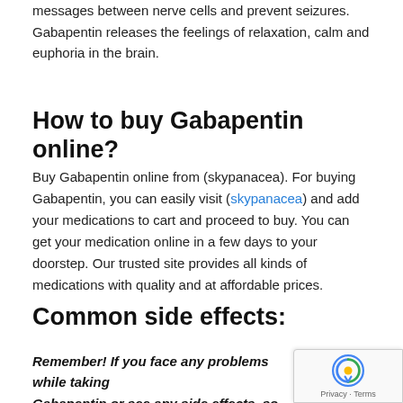messages between nerve cells and prevent seizures. Gabapentin releases the feelings of relaxation, calm and euphoria in the brain.
How to buy Gabapentin online?
Buy Gabapentin online from (skypanacea). For buying Gabapentin, you can easily visit (skypanacea) and add your medications to cart and proceed to buy. You can get your medication online in a few days to your doorstep. Our trusted site provides all kinds of medications with quality and at affordable prices.
Common side effects:
Remember! If you face any problems while taking Gabapentin or see any side effects, so Consult your doctor and ask about it.